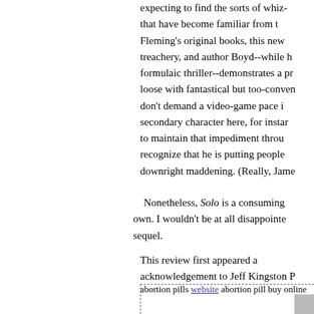expecting to find the sorts of whiz- that have become familiar from the Fleming's original books, this new treachery, and author Boyd--while h formulaic thriller--demonstrates a pre loose with fantastical but too-conven don't demand a video-game pace in secondary character here, for instan to maintain that impediment throu recognize that he is putting people downright maddening. (Really, Jame
Nonetheless, Solo is a consuming own. I wouldn't be at all disappointe sequel.
This review first appeared a acknowledgement to Jeff Kingston P
abortion pills website abortion pill buy online